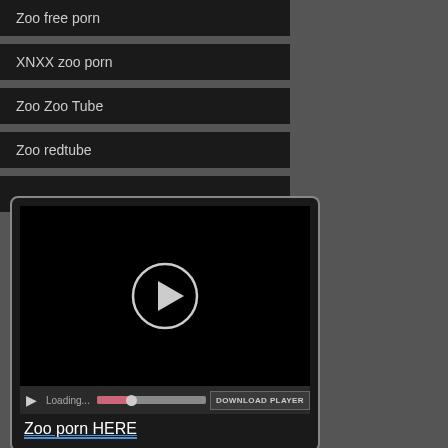Zoo free porn
XNXX zoo porn
Zoo Zoo Tube
Zoo redtube
[Figure (screenshot): Video player with black screen, play button circle icon, loading progress bar, and DOWNLOAD PLAYER button. Below player shows text 'Zoo porn HERE' with blue underline.]